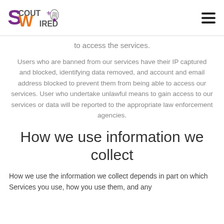Scout Wired logo and navigation
to access the services.
Users who are banned from our services have their IP captured and blocked, identifying data removed, and account and email address blocked to prevent them from being able to access our services. User who undertake unlawful means to gain access to our services or data will be reported to the appropriate law enforcement agencies.
How we use information we collect
How we use the information we collect depends in part on which Services you use, how you use them, and any